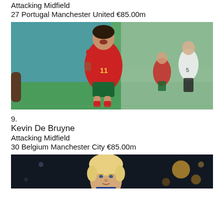Attacking Midfield
27 Portugal Manchester United €85.00m
[Figure (photo): Bruno Fernandes in Portugal red jersey number 11, celebrating on football pitch, other players in background]
9.
Kevin De Bruyne
Attacking Midfield
30 Belgium Manchester City €85.00m
[Figure (photo): Kevin De Bruyne with blonde hair, dark background with bokeh lights]